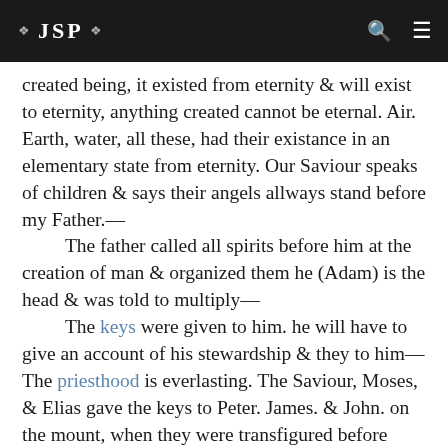❖ JSP ❖
created being, it existed from eternity & will exist to eternity, anything created cannot be eternal. Air. Earth, water, all these, had their existance in an elementary state from eternity. Our Saviour speaks of children & says their angels allways stand before my Father.—
    The father called all spirits before him at the creation of man & organized them he (Adam) is the head & was told to multiply—
    The keys were given to him. he will have to give an account of his stewardship & they to him— The priesthood is everlasting. The Saviour, Moses, & Elias gave the keys to Peter. James. & John. on the mount, when they were transfigured before him. The priesthood is everlasting, without beginning of days or end of years without Father, Mother, &c